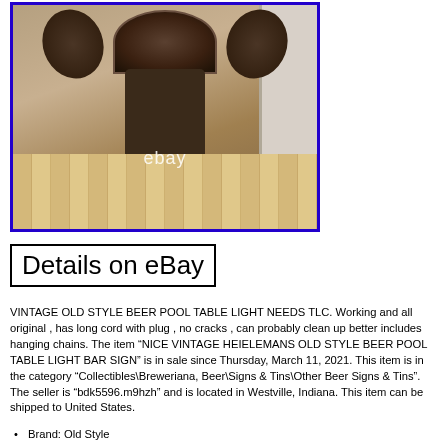[Figure (photo): Photo of a vintage Heielemans Old Style Beer pool table light/bar sign viewed from above, showing the lamp with decorative shades, sitting on a wooden floor near a white door. An 'ebay' watermark is visible. The photo has a blue border.]
Details on eBay
VINTAGE OLD STYLE BEER POOL TABLE LIGHT NEEDS TLC. Working and all original , has long cord with plug , no cracks , can probably clean up better includes hanging chains. The item “NICE VINTAGE HEIELEMANS OLD STYLE BEER POOL TABLE LIGHT BAR SIGN” is in sale since Thursday, March 11, 2021. This item is in the category “Collectibles\Breweriana, Beer\Signs & Tins\Other Beer Signs & Tins”. The seller is “bdk5596.m9hzh” and is located in Westville, Indiana. This item can be shipped to United States.
Brand: Old Style